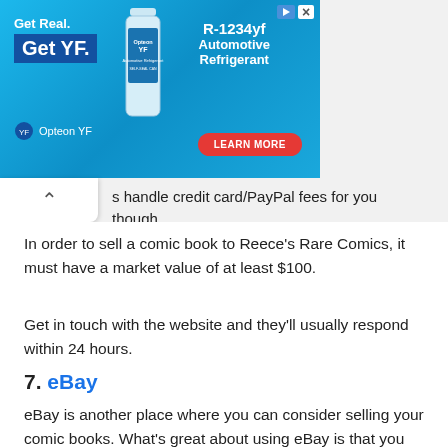[Figure (other): Advertisement banner for Opteon YF R-1234yf Automotive Refrigerant with blue background, product bottle image, 'Get Real. Get YF.' text, and 'LEARN MORE' button]
s handle credit card/PayPal fees for you though.
In order to sell a comic book to Reece's Rare Comics, it must have a market value of at least $100.
Get in touch with the website and they'll usually respond within 24 hours.
7. eBay
eBay is another place where you can consider selling your comic books. What's great about using eBay is that you can set your own price. You can check what similar comic books are selling for and then set your price accordingly.